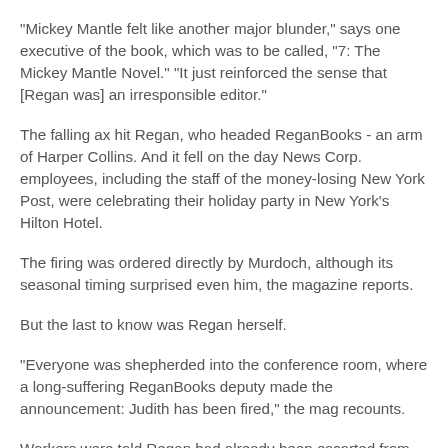"Mickey Mantle felt like another major blunder," says one executive of the book, which was to be called, "7: The Mickey Mantle Novel." "It just reinforced the sense that [Regan was] an irresponsible editor."
The falling ax hit Regan, who headed ReganBooks - an arm of Harper Collins. And it fell on the day News Corp. employees, including the staff of the money-losing New York Post, were celebrating their holiday party in New York's Hilton Hotel.
The firing was ordered directly by Murdoch, although its seasonal timing surprised even him, the magazine reports.
But the last to know was Regan herself.
"Everyone was shepherded into the conference room, where a long-suffering ReganBooks deputy made the announcement: Judith has been fired," the mag recounts.
Workers were told Regan had already been escorted from the building, but they later found her eating a sandwich at